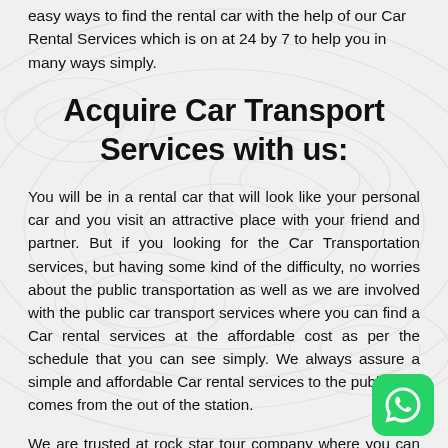easy ways to find the rental car with the help of our Car Rental Services which is on at 24 by 7 to help you in many ways simply.
Acquire Car Transport Services with us:
You will be in a rental car that will look like your personal car and you visit an attractive place with your friend and partner. But if you looking for the Car Transportation services, but having some kind of the difficulty, no worries about the public transportation as well as we are involved with the public car transport services where you can find a Car rental services at the affordable cost as per the schedule that you can see simply. We always assure a simple and affordable Car rental services to the public that comes from the out of the station.
We are trusted at rock star tour company where you can be of getting a great deal and reliable vehicle to make your city in Bogota simply. We have the best car transport services in
[Figure (logo): WhatsApp button icon, green rounded square with white WhatsApp logo]